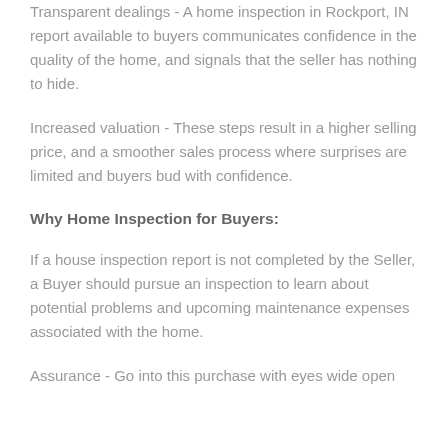Transparent dealings - A home inspection in Rockport, IN report available to buyers communicates confidence in the quality of the home, and signals that the seller has nothing to hide.
Increased valuation - These steps result in a higher selling price, and a smoother sales process where surprises are limited and buyers bud with confidence.
Why Home Inspection for Buyers:
If a house inspection report is not completed by the Seller, a Buyer should pursue an inspection to learn about potential problems and upcoming maintenance expenses associated with the home.
Assurance - Go into this purchase with eyes wide open